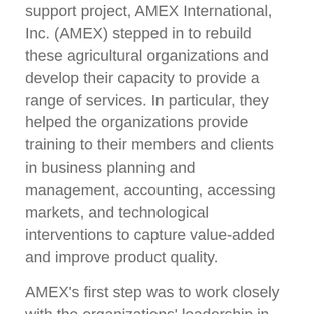support project, AMEX International, Inc. (AMEX) stepped in to rebuild these agricultural organizations and develop their capacity to provide a range of services. In particular, they helped the organizations provide training to their members and clients in business planning and management, accounting, accessing markets, and technological interventions to capture value-added and improve product quality.
AMEX's first step was to work closely with the organizations' leadership in order to restore their capacities to their pre-war level. The firm provided them with the necessary training to reinforce their understanding of principles of good governance in association management and refresher courses in horticulture management and production, fruit processing, cashew processing, improved agricultural practices, and other areas. The firm also